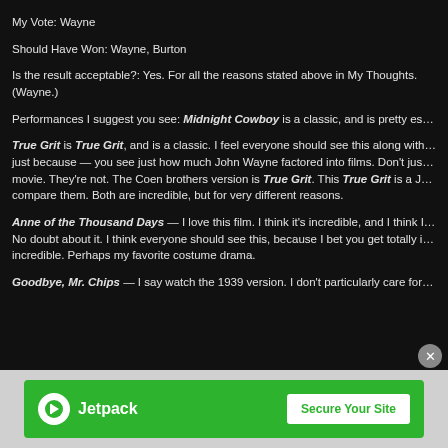My Vote: Wayne
Should Have Won: Wayne, Burton
Is the result acceptable?: Yes. For all the reasons stated above in My Thoughts. (Wayne.)
Performances I suggest you see: Midnight Cowboy is a classic, and is pretty es...
True Grit is True Grit, and is a classic. I feel everyone should see this along with... just because — you see just how much John Wayne factored into films. Don't jus... movie. They're not. The Coen brothers version is True Grit. This True Grit is a J... compare them. Both are incredible, but for very different reasons.
Anne of the Thousand Days — I love this film. I think it's incredible, and I think I... No doubt about it. I think everyone should see this, because I bet you get totally i... incredible. Perhaps my favorite costume drama.
Goodbye, Mr. Chips — I say watch the 1939 version. I don't particularly care for...
[Figure (screenshot): Jetpack advertisement banner with logo and 'Secure Your Site' button on green background]